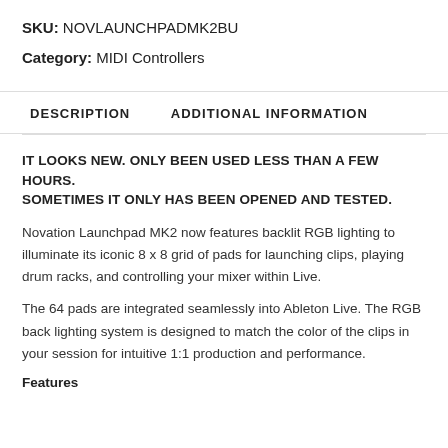SKU: NOVLAUNCHPADMK2BU
Category: MIDI Controllers
DESCRIPTION
ADDITIONAL INFORMATION
IT LOOKS NEW. ONLY BEEN USED LESS THAN A FEW HOURS. SOMETIMES IT ONLY HAS BEEN OPENED AND TESTED.
Novation Launchpad MK2 now features backlit RGB lighting to illuminate its iconic 8 x 8 grid of pads for launching clips, playing drum racks, and controlling your mixer within Live.
The 64 pads are integrated seamlessly into Ableton Live. The RGB back lighting system is designed to match the color of the clips in your session for intuitive 1:1 production and performance.
Features